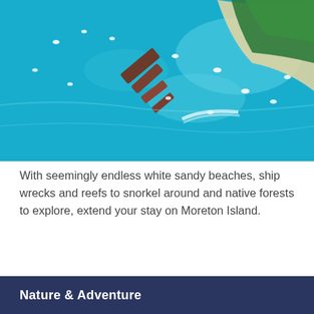[Figure (photo): Aerial view of Moreton Island showing turquoise blue ocean water with ship wrecks, boats, snorkeling areas, sandy beach shoreline, and green native forest in the upper right corner.]
With seemingly endless white sandy beaches, ship wrecks and reefs to snorkel around and native forests to explore, extend your stay on Moreton Island.
Nature & Adventure